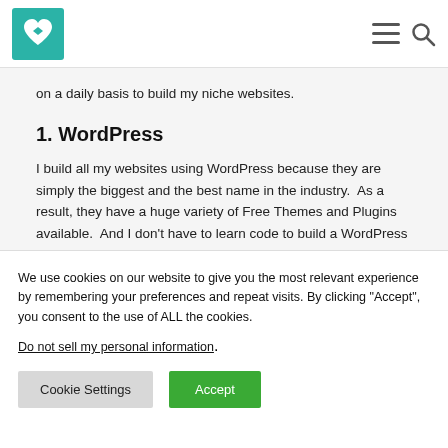[Figure (logo): Teal/green square logo with white heart and bow-tie shape inside]
on a daily basis to build my niche websites.
1. WordPress
I build all my websites using WordPress because they are simply the biggest and the best name in the industry.  As a result, they have a huge variety of Free Themes and Plugins available.  And I don't have to learn code to build a WordPress site.
We use cookies on our website to give you the most relevant experience by remembering your preferences and repeat visits. By clicking “Accept”, you consent to the use of ALL the cookies.
Do not sell my personal information.
Cookie Settings
Accept